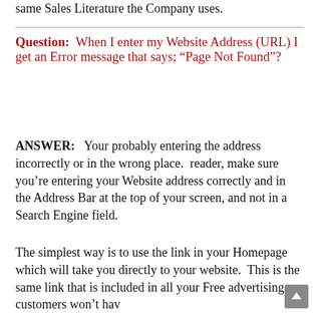same Sales Literature the Company uses.
Question:  When I enter my Website Address (URL) I get an Error message that says; “Page Not Found”?
ANSWER:   Your probably entering the address incorrectly or in the wrong place.  reader, make sure you’re entering your Website address correctly and in the Address Bar at the top of your screen, and not in a Search Engine field.
The simplest way is to use the link in your Homepage which will take you directly to your website.  This is the same link that is included in all your Free advertising so customers won’t hav…